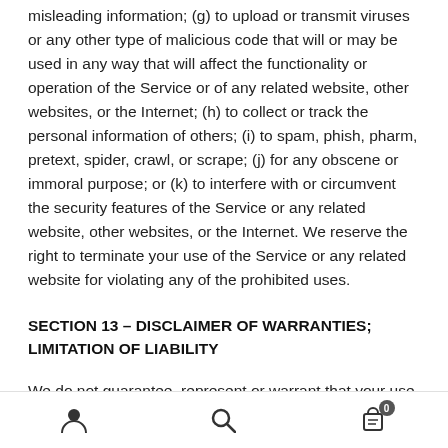misleading information; (g) to upload or transmit viruses or any other type of malicious code that will or may be used in any way that will affect the functionality or operation of the Service or of any related website, other websites, or the Internet; (h) to collect or track the personal information of others; (i) to spam, phish, pharm, pretext, spider, crawl, or scrape; (j) for any obscene or immoral purpose; or (k) to interfere with or circumvent the security features of the Service or any related website, other websites, or the Internet. We reserve the right to terminate your use of the Service or any related website for violating any of the prohibited uses.
SECTION 13 – DISCLAIMER OF WARRANTIES; LIMITATION OF LIABILITY
We do not guarantee, represent or warrant that your use of